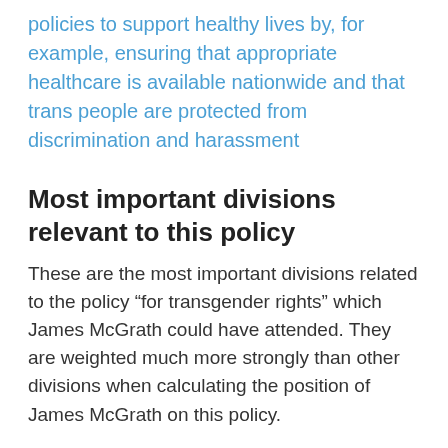policies to support healthy lives by, for example, ensuring that appropriate healthcare is available nationwide and that trans people are protected from discrimination and harassment
Most important divisions relevant to this policy
These are the most important divisions related to the policy “for transgender rights” which James McGrath could have attended. They are weighted much more strongly than other divisions when calculating the position of James McGrath on this policy.
no votes listed